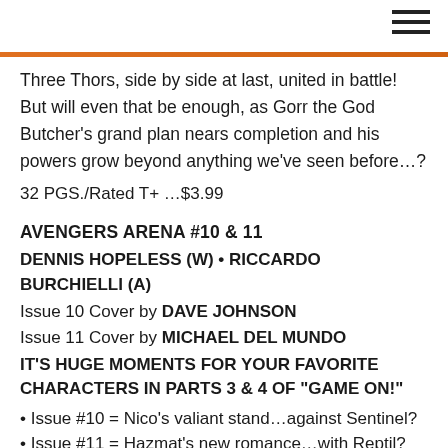Three Thors, side by side at last, united in battle! But will even that be enough, as Gorr the God Butcher's grand plan nears completion and his powers grow beyond anything we've seen before…?
32 PGS./Rated T+ …$3.99
AVENGERS ARENA #10 & 11
DENNIS HOPELESS (W) • RICCARDO BURCHIELLI (A)
Issue 10 Cover by DAVE JOHNSON
Issue 11 Cover by MICHAEL DEL MUNDO
IT'S HUGE MOMENTS FOR YOUR FAVORITE CHARACTERS IN PARTS 3 & 4 OF "GAME ON!"
• Issue #10 = Nico's valiant stand…against Sentinel?
• Issue #11 = Hazmat's new romance…with Reptil?
• Featuring the debut of guest-artist Riccardo Burchielli (DMZ)!